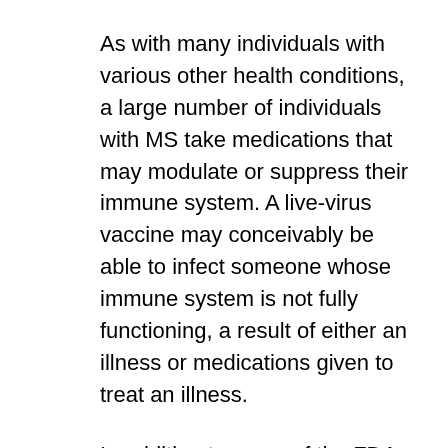As with many individuals with various other health conditions, a large number of individuals with MS take medications that may modulate or suppress their immune system. A live-virus vaccine may conceivably be able to infect someone whose immune system is not fully functioning, a result of either an illness or medications given to treat an illness.
In addition to some of the FDA-approved long-term disease-modifying therapies for MS, large doses or extended use of steroids, which are frequently prescribed to treat MS relapses, can also suppress the immune system...